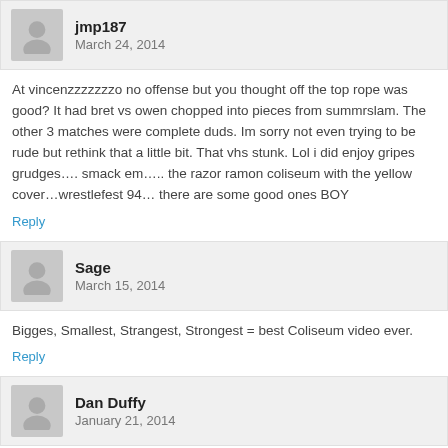jmp187
March 24, 2014
At vincenzzzzzzzo no offense but you thought off the top rope was good? It had bret vs owen chopped into pieces from summrslam. The other 3 matches were complete duds. Im sorry not even trying to be rude but rethink that a little bit. That vhs stunk. Lol i did enjoy gripes grudges…. smack em….. the razor ramon coliseum with the yellow cover…wrestlefest 94… there are some good ones BOY
Reply
Sage
March 15, 2014
Bigges, Smallest, Strangest, Strongest = best Coliseum video ever.
Reply
Dan Duffy
January 21, 2014